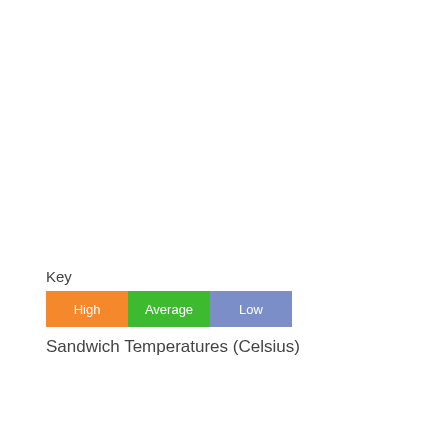Key
[Figure (infographic): Legend with three colored boxes labeled High (orange), Average (green), Low (blue-purple)]
Sandwich Temperatures (Celsius)